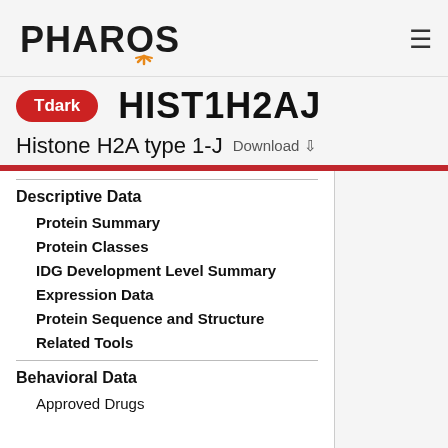PHAROS
HIST1H2AJ
Tdark
Histone H2A type 1-J  Download
Descriptive Data
Protein Summary
Protein Classes
IDG Development Level Summary
Expression Data
Protein Sequence and Structure
Related Tools
Behavioral Data
Approved Drugs